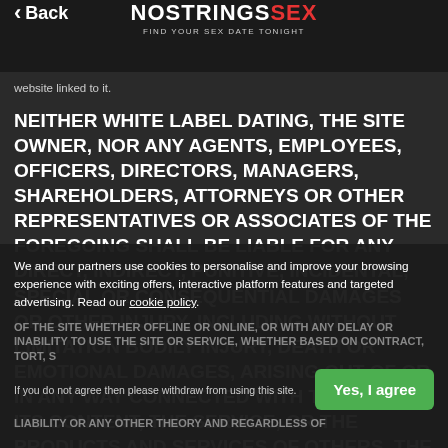Back | NOSTRINGS SEX - FIND YOUR SEX DATE TONIGHT
website linked to it.
NEITHER WHITE LABEL DATING, THE SITE OWNER, NOR ANY AGENTS, EMPLOYEES, OFFICERS, DIRECTORS, MANAGERS, SHAREHOLDERS, ATTORNEYS OR OTHER REPRESENTATIVES OR ASSOCIATES OF THE FOREGOING SHALL BE LIABLE FOR ANY DIRECT, INDIRECT, PUNITIVE, INCIDENTAL, SPECIAL OR CONSEQUENTIAL DAMAGES OR OTHER INJURY, INCLUDING WITHOUT LIMITATION BODILY INJURY, DEATH OR EMOTIONAL DAMAGES, ARISING OUT OF OR IN ANY WAY CONNECTED WITH THE SITE, ITS CONTENT, THE SERVICE, OR THE PRODUCTS AND SERVICES OF OTHERS, THE CONDUCT OF ANY MEMBER OF THE SITE WHETHER OFFLINE OR ONLINE, OR WITH ANY DELAY OR INABILITY TO USE THE SITE OR SERVICE, WHETHER BASED ON CONTRACT, TORT, STRICT LIABILITY OR ANY OTHER THEORY AND REGARDLESS OF
We and our partners use cookies to personalise and improve your browsing experience with exciting offers, interactive platform features and targeted advertising. Read our cookie policy.
If you do not agree then please withdraw from using this site.